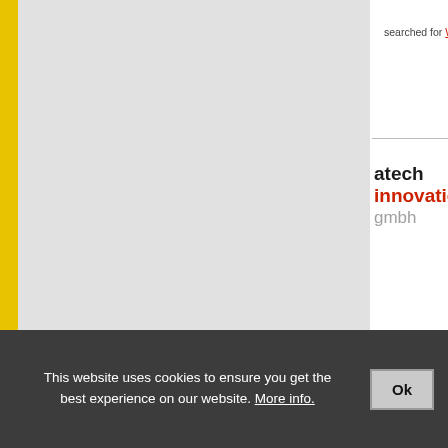searched for Waste Wate…
[Figure (logo): atech innovations gmbh logo — 'atech' in bold black, 'innovations' in bold red, 'gmbh' in light gray]
atech innovations gm…
D 45966 Gladbeck
www.atech-innovations.c…
searched for Waste Wate…
[Figure (logo): Berry Global logo — colorful star/pinwheel icon and 'Berry' text in blue]
Berry Global, Inc
Fiberweb Berlin GmbH
D 12277 Berlin
Fiberweb (Berry) is supp… globally. Important marke… cleanroom, coolant oil, m… water separator, etc.
www.berryglobal.com
searched for Waste Wate…
This website uses cookies to ensure you get the best experience on our website. More info.